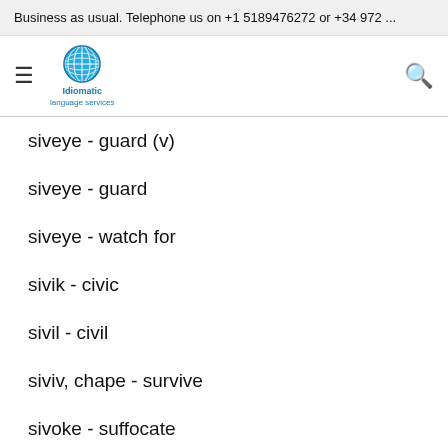Business as usual. Telephone us on +1 5189476272 or +34 972 ...
[Figure (logo): Idiomatic language services globe logo with navigation hamburger menu and search icon]
siveye - guard (v)
siveye - guard
siveye - watch for
sivik - civic
sivil - civil
siviv, chape - survive
sivoke - suffocate
siwo - honey
siy, pankat - sign n